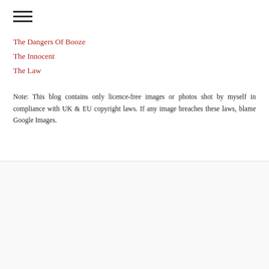The Dangers Of Booze
The Innocent
The Law
Note: This blog contains only licence-free images or photos shot by myself in compliance with UK & EU copyright laws. If any image breaches these laws, blame Google Images.
SOCIAL MEDIA
[Figure (infographic): Social media icons: Facebook, Twitter, Email, Pinterest, Instagram]
BUSINESS ADDRESS
ABOUT MURDER MILE UK TRUE CRIME